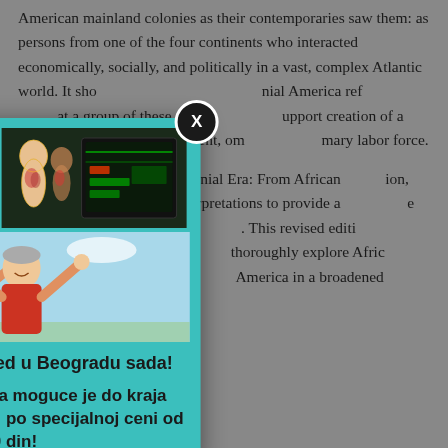American mainland colonies as their contemporaries saw them: as persons from one of the four continents who interacted economically, socially, and politically in a vast, complex Atlantic world. It sho... nial America ref... at a group of these peo... upport creation of a... European descent, om... mary labor force.
In this fourth... lonial Era: From African... ion, acclaimed s... rpretations to provide a... e trade and the nature o... This revised editi... Atlantic perspective,... thoroughly explore Afric... erience crossing the... America in a broadened...
[Figure (photo): Modal popup overlay with teal/turquoise background containing two images: top row shows a female scientist/doctor touching a digital interface and an anatomical body diagram with a computer screen; bottom shows a happy senior couple with arms raised outdoors. Below images is text in bold: 'Zakazite kvantni pregled u Beogradu sada!' and 'Samo na Planeti Zdravlja moguce je do kraja nedelje zakazati pregled po specijalnoj ceni od 5 290 din umesto 10 000 din!' A close button (X) is in the top right corner.]